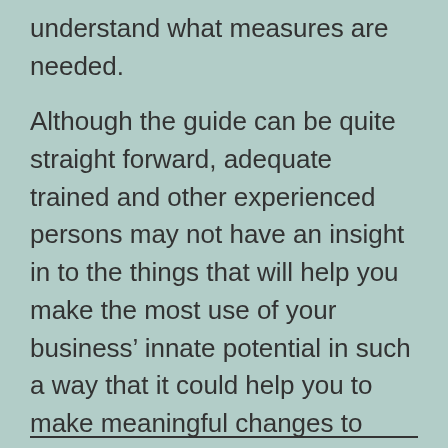understand what measures are needed.
Although the guide can be quite straight forward, adequate trained and other experienced persons may not have an insight in to the things that will help you make the most use of your business’ innate potential in such a way that it could help you to make meaningful changes to your business then you are likely to make a £700 mistake.